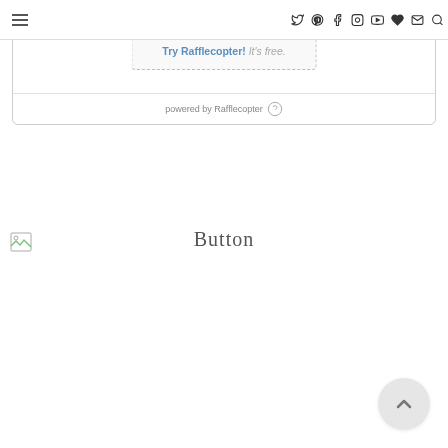[Figure (screenshot): Blog website header navigation bar with hamburger menu icon on left and social media icons (Twitter, Pinterest, Facebook, Instagram, YouTube, heart/favorite, mail, search) on right]
[Figure (screenshot): Rafflecopter giveaway widget showing a dashed border box with text 'Do you run giveaways, too? Try Rafflecopter! It's free.' and a footer 'powered by Rafflecopter']
Button
[Figure (illustration): Back-to-top button: circular light gray button with upward-pointing chevron arrow]
[Figure (illustration): Small broken image icon in top-left area near Button label]